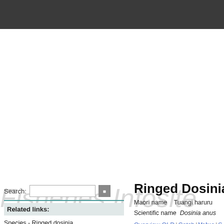[Figure (screenshot): Dark grey header bar at top of webpage]
Fisheries Infosite
Search:
Related links:
Species - Ringed dosinia
Region - Chatham Islands (FMA 4)
Fishery - Chatham Islands (FMA 4)
Ringed Dosinia S
Maori name      Tuangi haruru
Scientific name   Dosinia anus
Overview OLD | Catch | Value | S